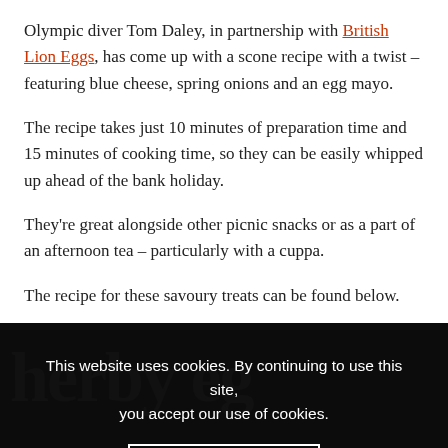Olympic diver Tom Daley, in partnership with British Lion Eggs, has come up with a scone recipe with a twist – featuring blue cheese, spring onions and an egg mayo.
The recipe takes just 10 minutes of preparation time and 15 minutes of cooking time, so they can be easily whipped up ahead of the bank holiday.
They're great alongside other picnic snacks or as a part of an afternoon tea – particularly with a cuppa.
The recipe for these savoury treats can be found below.
This website uses cookies. By continuing to use this site, you accept our use of cookies.
ACCEPT